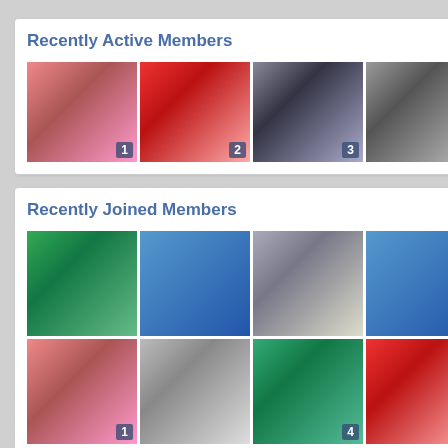Recently Active Members
[Figure (photo): Grid of 4 avatar thumbnails numbered 1-4: heart/hands graphic, anime girl with sunglasses, black dog, sheltie dog]
Recently Joined Members
[Figure (photo): Grid of 8 avatar thumbnails: dark-haired woman, blue cartoon character, silver-haired illustrated girl (3), blue cartoon character, black cat (3), heart/hands graphic (1), smiling woman, black cat holding kitten (4), anime girl with sunglasses (2)]
[Figure (photo): Pink cherry blossom flowers on branch against blue sky]
[Figure (photo): Pink rose close-up]
[Figure (photo): Pink tulips bouquet]
7  8  9
Ju